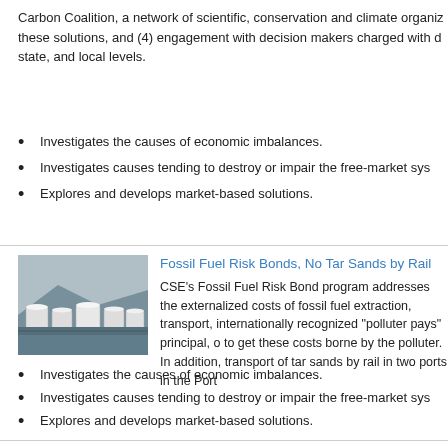Carbon Coalition, a network of scientific, conservation and climate organizations supporting these solutions, and (4) engagement with decision makers charged with decisions at federal, state, and local levels.
Investigates the causes of economic imbalances.
Investigates causes tending to destroy or impair the free-market system.
Explores and develops market-based solutions.
[Figure (photo): Aerial view of industrial fuel storage tanks near waterfront]
Fossil Fuel Risk Bonds, No Tar Sands by Rail
CSE's Fossil Fuel Risk Bond program addresses the externalized costs of fossil fuel extraction, transport, internationally recognized “polluter pays” principal, to get these costs borne by the polluter. In addition, transport of tar sands by rail in two ports in the Portland area.
Investigates the causes of economic imbalances.
Investigates causes tending to destroy or impair the free-market system.
Explores and develops market-based solutions.
[Figure (photo): Person presenting at a community meeting with audience seated]
Fossil Fuel Risk Bonds
Fossil fuel risk bond programs provide a way to ramp people to work – including displaced oil, gas, and coal workers – in the consumption, decommissioning obsolete fossil fuel infrastructure.